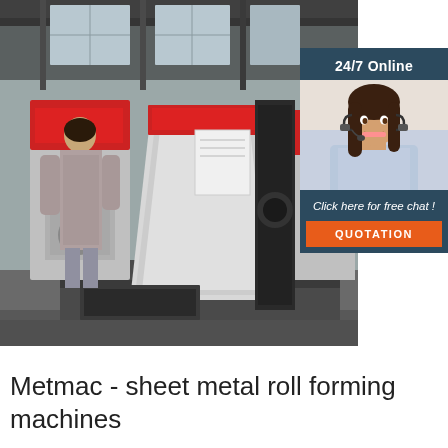[Figure (photo): Factory floor photo showing red and white sheet metal roll forming machines with a worker in grey clothing operating them. Industrial warehouse setting with high ceiling and windows.]
[Figure (infographic): 24/7 Online chat widget overlay showing a smiling female customer service representative wearing a headset, with text 'Click here for free chat!' and an orange QUOTATION button.]
Metmac - sheet metal roll forming machines